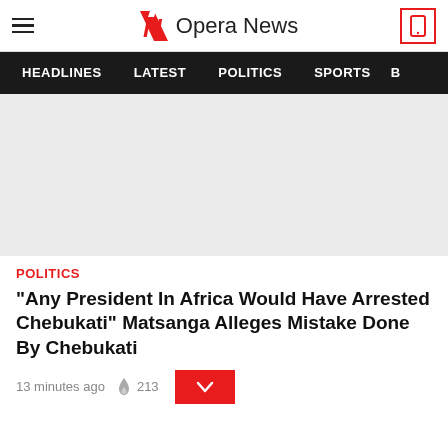Opera News
[Figure (screenshot): Gray placeholder image area for article]
POLITICS
"Any President In Africa Would Have Arrested Chebukati" Matsanga Alleges Mistake Done By Chebukati
13 minutes ago  213